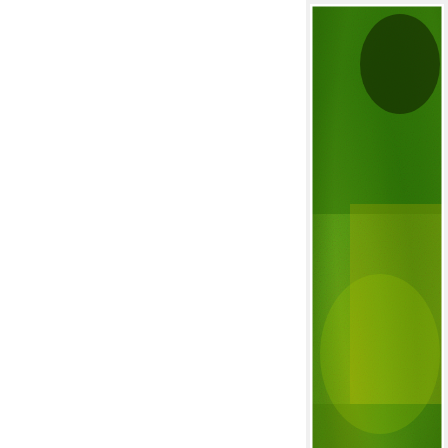[Figure (photo): Close-up macro photograph of film grain on colour film, showing a highly textured green and yellow granular surface with visible film grain structure.]
The grain is not intrusive colour films. Where the in London. However no the grain.
Having gone through a Silver f...